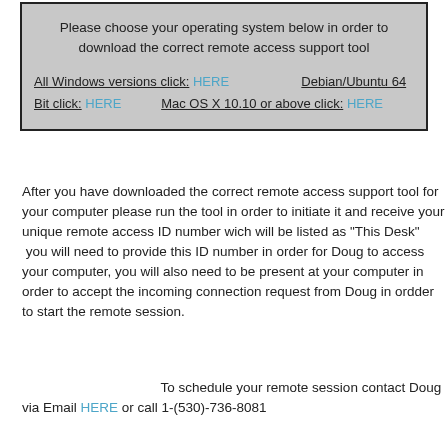Please choose your operating system below in order to download the correct remote access support tool
All Windows versions click: HERE    Debian/Ubuntu 64 Bit click: HERE    Mac OS X 10.10 or above click: HERE
After you have downloaded the correct remote access support tool for your computer please run the tool in order to initiate it and receive your unique remote access ID number wich will be listed as "This Desk" you will need to provide this ID number in order for Doug to access your computer, you will also need to be present at your computer in order to accept the incoming connection request from Doug in ordder to start the remote session.
To schedule your remote session contact Doug via Email HERE or call 1-(530)-736-8081